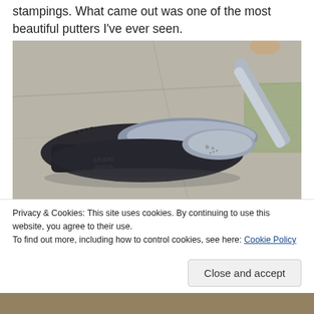stampings. What came out was one of the most beautiful putters I've ever seen.
[Figure (photo): Close-up photo of a black and silver golf putter head resting on a concrete surface, held by a hand visible at the top right. The putter has a dark matte body with a polished silver face and hosel.]
Privacy & Cookies: This site uses cookies. By continuing to use this website, you agree to their use.
To find out more, including how to control cookies, see here: Cookie Policy
Close and accept
[Figure (photo): Partial view of another photo at the bottom of the page, showing an outdoor scene.]